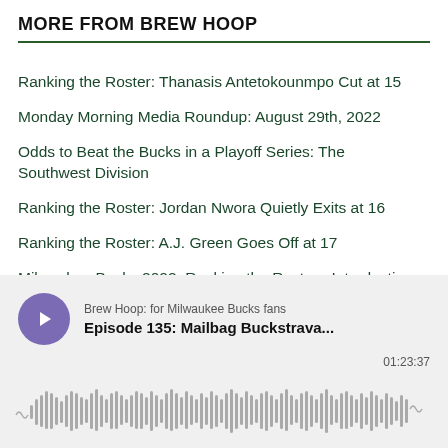MORE FROM BREW HOOP
Ranking the Roster: Thanasis Antetokounmpo Cut at 15
Monday Morning Media Roundup: August 29th, 2022
Odds to Beat the Bucks in a Playoff Series: The Southwest Division
Ranking the Roster: Jordan Nwora Quietly Exits at 16
Ranking the Roster: A.J. Green Goes Off at 17
Milwaukee Bucks 2022: Ranking the Roster - Introduction
[Figure (other): Podcast player widget showing 'Brew Hoop: for Milwaukee Bucks fans' with Episode 135: Mailbag Buckstrava... and a waveform visualizer showing 01:23:37 duration]